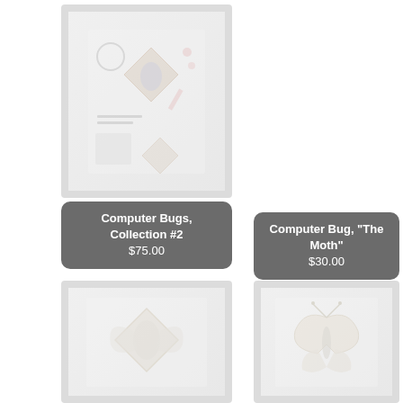[Figure (photo): Framed art print showing computer bug collection #2, blurred/faded appearance]
Computer Bugs, Collection #2
$75.00
Computer Bug, "The Moth"
$30.00
[Figure (photo): Framed art print showing a computer bug moth illustration, blurred/faded]
[Figure (photo): Framed art print showing computer bug illustration, blurred/faded]